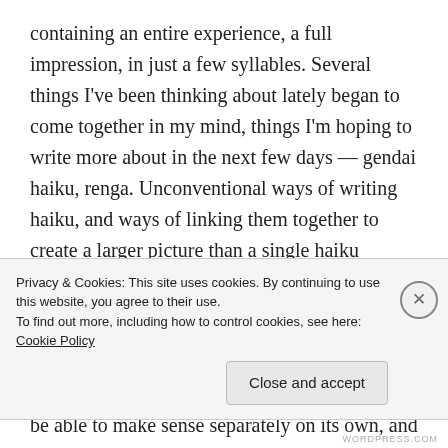containing an entire experience, a full impression, in just a few syllables. Several things I've been thinking about lately began to come together in my mind, things I'm hoping to write more about in the next few days — gendai haiku, renga. Unconventional ways of writing haiku, and ways of linking them together to create a larger picture than a single haiku allows.
I wondered what would happen if you piled a bunch of nontraditional haiku on top of each other to form a narrative. I wanted each haiku to be able to make sense separately on its own, and also to form a part of a
Privacy & Cookies: This site uses cookies. By continuing to use this website, you agree to their use.
To find out more, including how to control cookies, see here: Cookie Policy
Close and accept